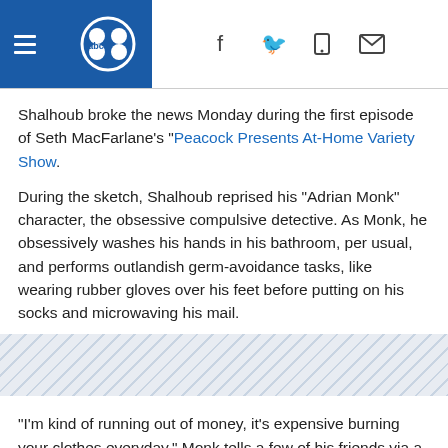KGO ABC News header with navigation and social icons
Shalhoub broke the news Monday during the first episode of Seth MacFarlane's "Peacock Presents At-Home Variety Show.
During the sketch, Shalhoub reprised his "Adrian Monk" character, the obsessive compulsive detective. As Monk, he obsessively washes his hands in his bathroom, per usual, and performs outlandish germ-avoidance tasks, like wearing rubber gloves over his feet before putting on his socks and microwaving his mail.
[Figure (other): Diagonal stripe decorative divider band]
"I'm kind of running out of money, it's expensive burning your clothes everyday," Monk tells a few of his friends via a teleconference call.